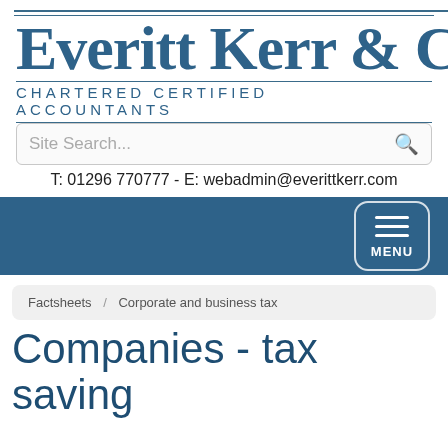Everitt Kerr & Co
CHARTERED CERTIFIED ACCOUNTANTS
Site Search...
T: 01296 770777 - E: webadmin@everittkerr.com
MENU
Factsheets / Corporate and business tax
Companies - tax saving